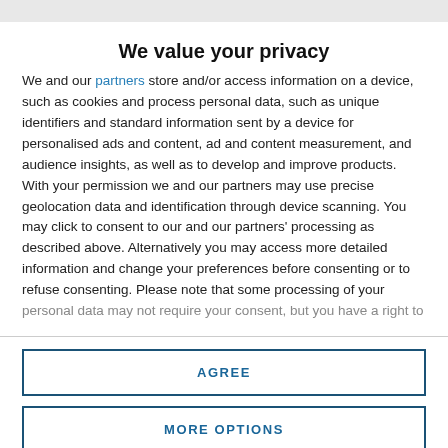We value your privacy
We and our partners store and/or access information on a device, such as cookies and process personal data, such as unique identifiers and standard information sent by a device for personalised ads and content, ad and content measurement, and audience insights, as well as to develop and improve products. With your permission we and our partners may use precise geolocation data and identification through device scanning. You may click to consent to our and our partners' processing as described above. Alternatively you may access more detailed information and change your preferences before consenting or to refuse consenting. Please note that some processing of your personal data may not require your consent, but you have a right to
AGREE
MORE OPTIONS
[Figure (photo): Photo strip at bottom of page showing people]